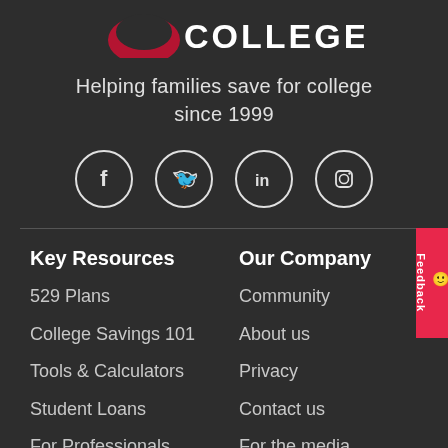[Figure (logo): Saving for College logo - partial logo visible at top with red/white design and 'COLLEGE' text]
Helping families save for college since 1999
[Figure (infographic): Social media icons in circles: Facebook, Twitter, LinkedIn, Instagram]
Key Resources
529 Plans
College Savings 101
Tools & Calculators
Student Loans
For Professionals
Our Company
Community
About us
Privacy
Contact us
For the media
Advertise